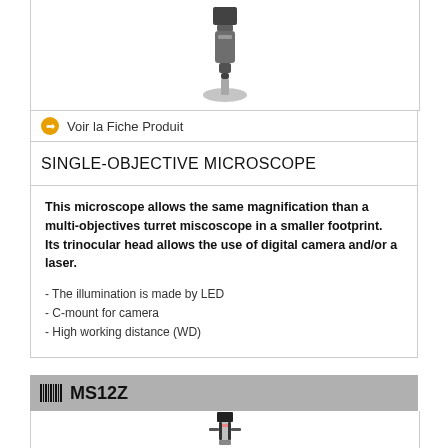[Figure (photo): Single-objective microscope product image, viewed from front, black/grey body on white background]
➔ Voir la Fiche Produit
SINGLE-OBJECTIVE MICROSCOPE
This microscope allows the same magnification than a multi-objectives turret miscoscope in a smaller footprint.
Its trinocular head allows the use of digital camera and/or a laser.

- The illumination is made by LED
- C-mount for camera
- High working distance (WD)
MS12Z
[Figure (photo): MS12Z microscope product image, tall cylindrical silver/chrome body with black mount bracket, front view]